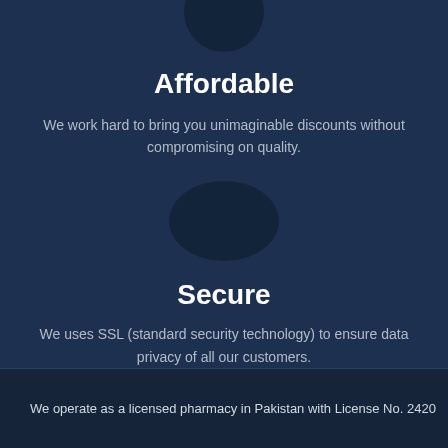[Figure (illustration): Dark circle icon at the top center of the affordable section]
Affordable
We work hard to bring you unimaginable discounts without compromising on quality.
[Figure (illustration): Dark circle icon in the middle representing the secure section]
Secure
We uses SSL (standard security technology) to ensure data privacy of all our customers.
We operate as a licensed pharmacy in Pakistan with License No. 2420